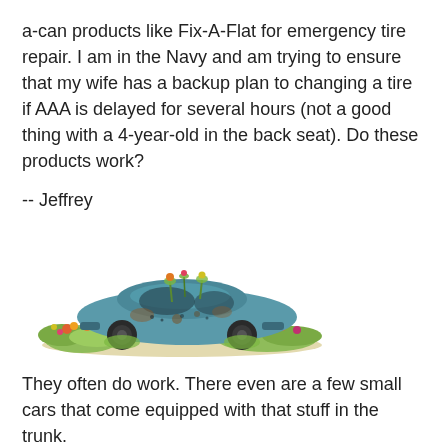a-can products like Fix-A-Flat for emergency tire repair. I am in the Navy and am trying to ensure that my wife has a backup plan to changing a tire if AAA is delayed for several hours (not a good thing with a 4-year-old in the back seat). Do these products work?
-- Jeffrey
[Figure (illustration): An illustration of a rusted, abandoned vintage blue car overgrown with weeds and wildflowers.]
They often do work. There even are a few small cars that come equipped with that stuff in the trunk.
In the first Fiat 500 we test drove, instead of a spare tire I remember finding a can of "flat fixer," a little air compressor and a bottle of Filippo Berio Extra Virgin Olive Oil. The oil must have been for dipping your